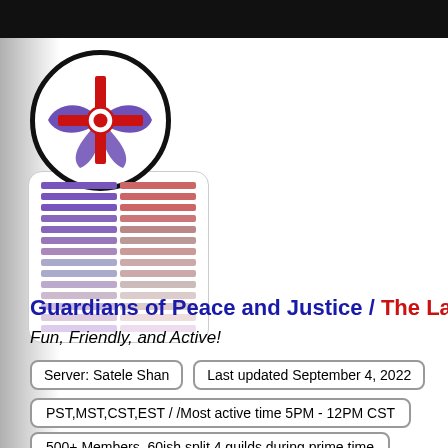[Figure (logo): Circular logo with Star Wars Republic/Jedi symbol in black, purple and red, with stacked colored bar segments below forming a card shape]
Guardians of Peace and Justice / The Last ...
Fun, Friendly, and Active!
Server: Satele Shan
Last updated September 4, 2022
PST,MST,CST,EST / /Most active time 5PM - 12PM CST
500+ Members, 60ish split 4 guilds during prime time
Operations
PvP
Flashpoints
Conquest
Social/hanging out
Leveling
Crafting